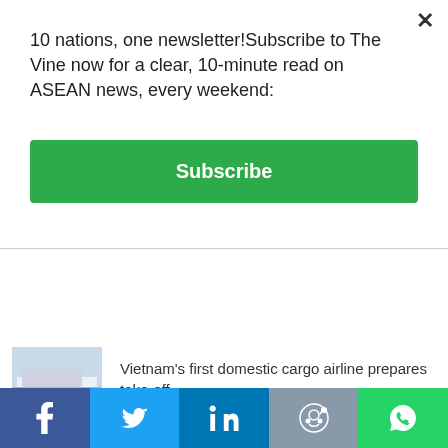10 nations, one newsletter!Subscribe to The Vine now for a clear, 10-minute read on ASEAN news, every weekend:
Subscribe
Cambodia's top 10 tycoons
Vietnam's first domestic cargo airline prepares take-off
The Vietnam war photo that inspired Platoon
Poverty on the rise again in the Philippines